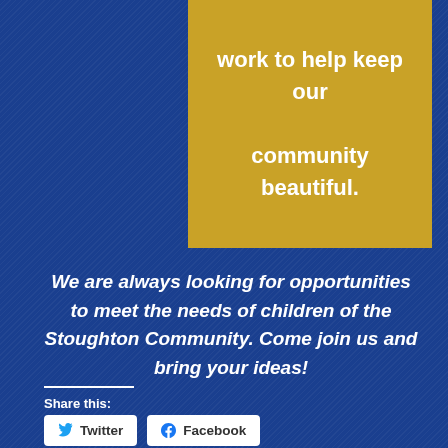work to help keep our community beautiful.
We are always looking for opportunities to meet the needs of children of the Stoughton Community. Come join us and bring your ideas!
Share this:
Twitter
Facebook
Like
Be the first to like this.